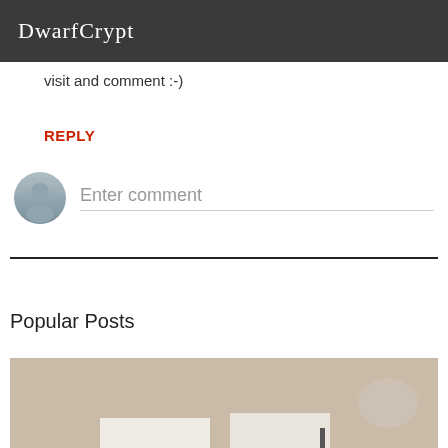DwarfCrypt
visit and comment :-)
REPLY
Enter comment
Popular Posts
[Figure (photo): A sepia/tan-toned photo of what appears to be decorative cards or frames on a surface, with a dark stick/cross element and floral decoration on the right side.]